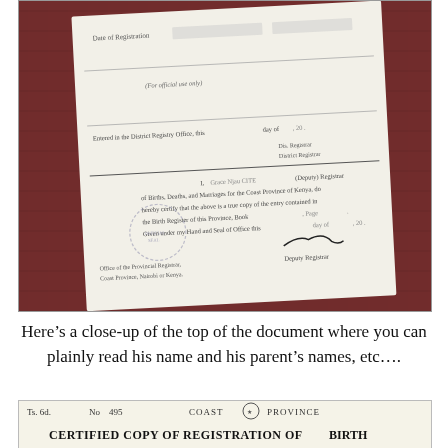[Figure (photo): Close-up photograph of a Kenyan certified copy of registration of birth document, partially visible, placed on a dark red/maroon fabric background. The document shows official text including 'Entered in the District Registry Office', signature lines, 'Deputy Registrar of Births, Deaths, and Marriages for the Coast Province of Kenya', certification text, 'the Birth Register of this Province, Book ... Page ...', 'Given under my Hand and Seal of Office', and 'Office of the Provincial Registrar, Coast Province, Nairobi or Kenya'. Handwritten signatures are visible.]
Here’s a close-up of the top of the document where you can plainly read his name and his parent’s names, etc….
[Figure (photo): Bottom portion of a certified copy of registration of birth document from Coast Province, Kenya. Shows header text: 'Ts. 6d. No 495 COAST [emblem] PROVINCE' and 'CERTIFIED COPY OF REGISTRATION OF BIRTH']